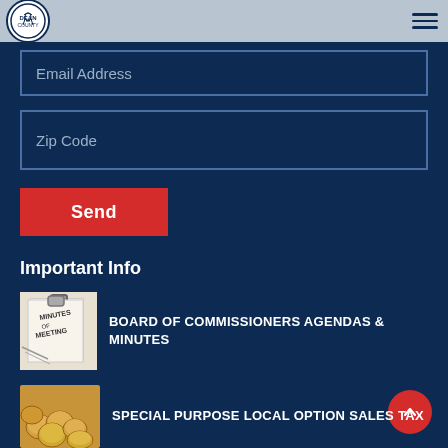Dean County Government
Email Address
Zip Code
Send
Important Info
[Figure (photo): Minutes of meeting document with binder clip]
BOARD OF COMMISSIONERS AGENDAS & MINUTES
[Figure (photo): Coins scattered on surface]
SPECIAL PURPOSE LOCAL OPTION SALES TAX